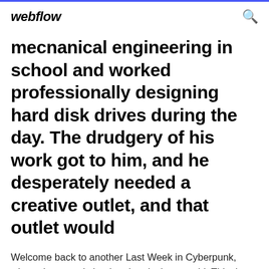webflow
mecnanical engineering in school and worked professionally designing hard disk drives during the day. The drudgery of his work got to him, and he desperately needed a creative outlet, and that outlet would
Welcome back to another Last Week in Cyberpunk, where the news is hot but the pixels are cold. This time around we bring you updates from the Yellow Vest Protests, a fresh book to upload into your brain meats, and